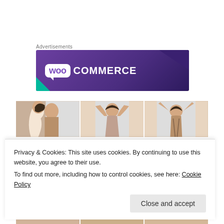Advertisements
[Figure (logo): WooCommerce advertisement banner with purple gradient background, WOO logo in white speech bubble, and COMMERCE text in white]
[Figure (photo): Three side-by-side photos of a woman demonstrating arm/shoulder positions: left profile with arm raised, front view with hands behind head, back view with hands raised overhead]
Privacy & Cookies: This site uses cookies. By continuing to use this website, you agree to their use.
To find out more, including how to control cookies, see here: Cookie Policy
Close and accept